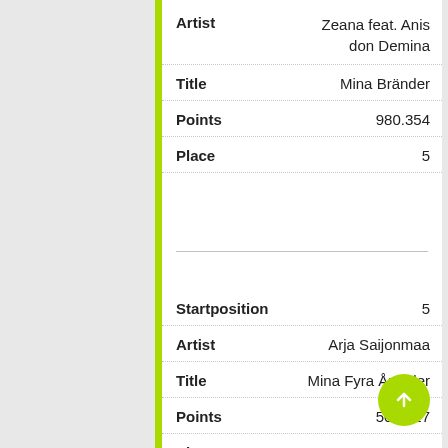| Field | Value |
| --- | --- |
| Artist | Zeana feat. Anis don Demina |
| Title | Mina Bränder |
| Points | 980.354 |
| Place | 5 |
| Startposition | 5 |
| Artist | Arja Saijonmaa |
| Title | Mina Fyra Årstider |
| Points | 507.727 |
| Place | 7 |